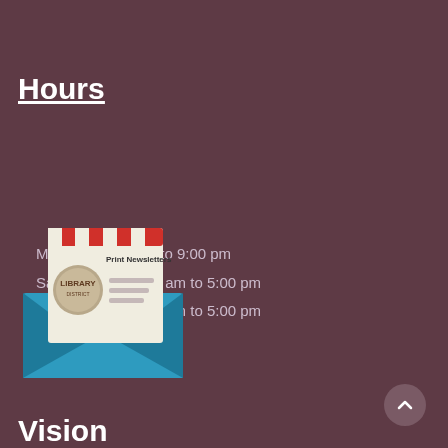Hours
Mon-Fri: 9:00 am to 9:00 pm
Sat:       9:00 am to 5:00 pm
Sun:       1:00 pm to 5:00 pm
[Figure (illustration): Print Newsletters graphic showing an envelope with a newsletter/letter inside, featuring the library logo and decorative red/white striped border at the top of the letter.]
Vision